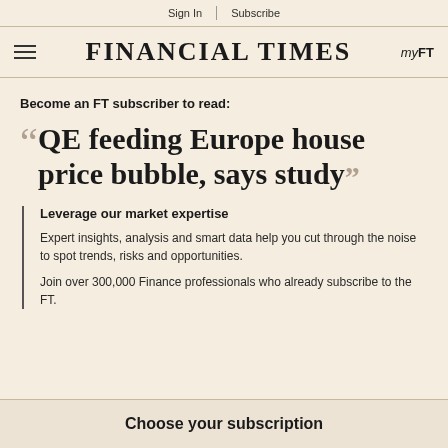Sign In | Subscribe
FINANCIAL TIMES  myFT
Become an FT subscriber to read:
QE feeding Europe house price bubble, says study
Leverage our market expertise
Expert insights, analysis and smart data help you cut through the noise to spot trends, risks and opportunities.
Join over 300,000 Finance professionals who already subscribe to the FT.
Choose your subscription